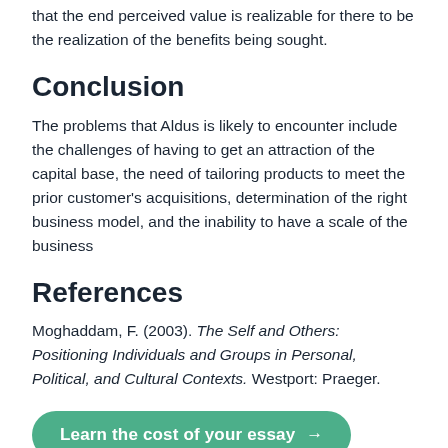that the end perceived value is realizable for there to be the realization of the benefits being sought.
Conclusion
The problems that Aldus is likely to encounter include the challenges of having to get an attraction of the capital base, the need of tailoring products to meet the prior customer’s acquisitions, determination of the right business model, and the inability to have a scale of the business
References
Moghaddam, F. (2003). The Self and Others: Positioning Individuals and Groups in Personal, Political, and Cultural Contexts. Westport: Praeger.
Learn the cost of your essay →